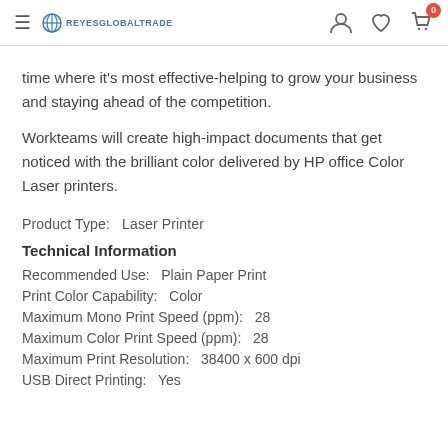REYESGLOBALTRADE — navigation header with hamburger, logo, user, wishlist, cart icons
time where it's most effective-helping to grow your business and staying ahead of the competition.
Workteams will create high-impact documents that get noticed with the brilliant color delivered by HP office Color Laser printers.
Product Type:   Laser Printer
Technical Information
Recommended Use:   Plain Paper Print
Print Color Capability:   Color
Maximum Mono Print Speed (ppm):   28
Maximum Color Print Speed (ppm):   28
Maximum Print Resolution:   38400 x 600 dpi
USB Direct Printing:   Yes